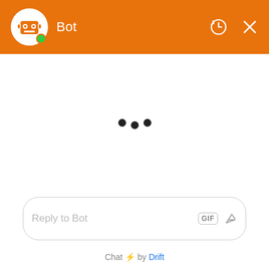Bot
[Figure (other): Three typing indicator dots in the center of the chat area]
Reply to Bot
Chat ⚡ by Drift